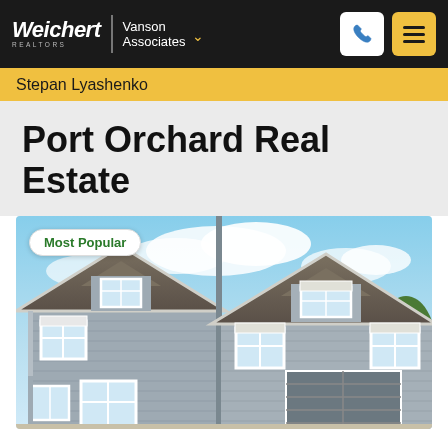Weichert REALTORS | Vanson Associates
Stepan Lyashenko
Port Orchard Real Estate
[Figure (photo): Exterior photo of two craftsman-style two-story homes with gray siding, white trim windows, and a blue sky background. A 'Most Popular' badge appears in the top-left corner.]